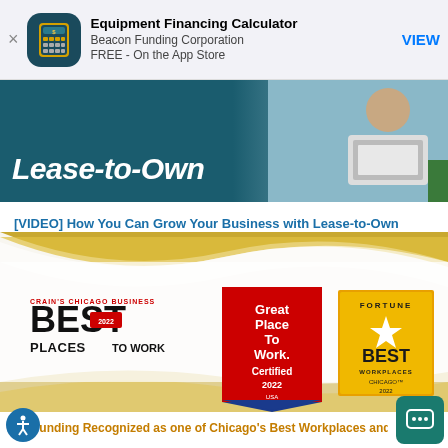[Figure (infographic): App Store banner for Equipment Financing Calculator by Beacon Funding Corporation. Shows app icon (calculator on dark teal background), app name, company, price (FREE - On the App Store), and VIEW button.]
[Figure (photo): Lease-to-Own promotional banner with dark teal background on left and photo of person using laptop on right. Bold italic white text reads 'Lease-to-Own'.]
[VIDEO] How You Can Grow Your Business with Lease-to-Own
[Figure (infographic): Awards banner with gold wave design on white background. Shows three award badges: Crain's Chicago Business Best Places to Work 2022, Great Place To Work Certified 2022 USA, and Fortune Best Workplaces Chicago 2022.]
on Funding Recognized as one of Chicago's Best Workplaces and G
to Work Certified